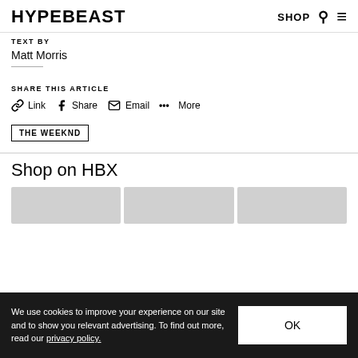HYPEBEAST    SHOP
TEXT BY
Matt Morris
SHARE THIS ARTICLE
Link  Share  Email  More
THE WEEKND
Shop on HBX
We use cookies to improve your experience on our site and to show you relevant advertising. To find out more, read our privacy policy.    OK